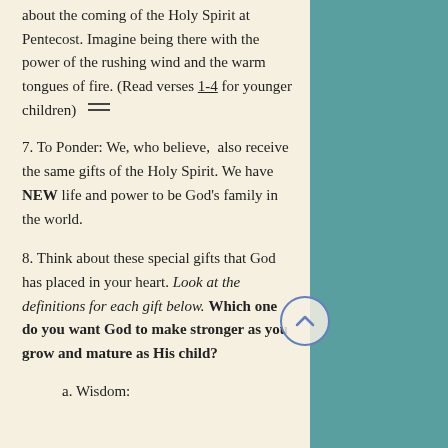about the coming of the Holy Spirit at Pentecost. Imagine being there with the power of the rushing wind and the warm tongues of fire. (Read verses 1-4 for younger children)
7. To Ponder: We, who believe, also receive the same gifts of the Holy Spirit. We have NEW life and power to be God's family in the world.
8. Think about these special gifts that God has placed in your heart. Look at the definitions for each gift below. Which one do you want God to make stronger as you grow and mature as His child?
a. Wisdom: